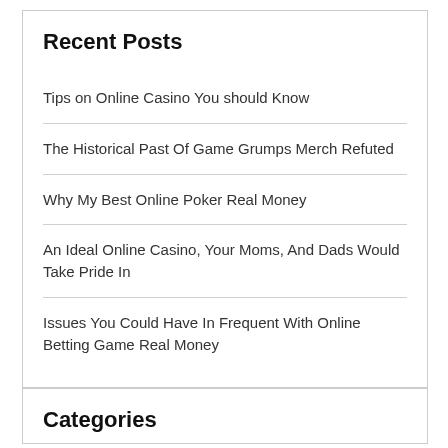Recent Posts
Tips on Online Casino You should Know
The Historical Past Of Game Grumps Merch Refuted
Why My Best Online Poker Real Money
An Ideal Online Casino, Your Moms, And Dads Would Take Pride In
Issues You Could Have In Frequent With Online Betting Game Real Money
Categories